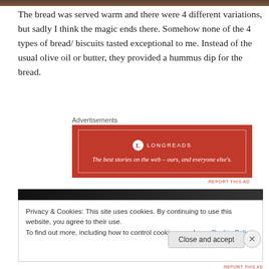[Figure (photo): Dark textured band at top of page, appears to be a food/bread photo cropped to a thin strip]
The bread was served warm and there were 4 different variations, but sadly I think the magic ends there. Somehow none of the 4 types of bread/ biscuits tasted exceptional to me. Instead of the usual olive oil or butter, they provided a hummus dip for the bread.
Advertisements
[Figure (screenshot): Longreads advertisement: red background with white border, Longreads logo and tagline 'The best stories on the web – ours, and everyone else's.']
REPORT THIS AD
[Figure (photo): Dark textured band, part of image below advertisement]
Privacy & Cookies: This site uses cookies. By continuing to use this website, you agree to their use.
To find out more, including how to control cookies, see here: Cookie Policy
Close and accept
REPORT THIS AD